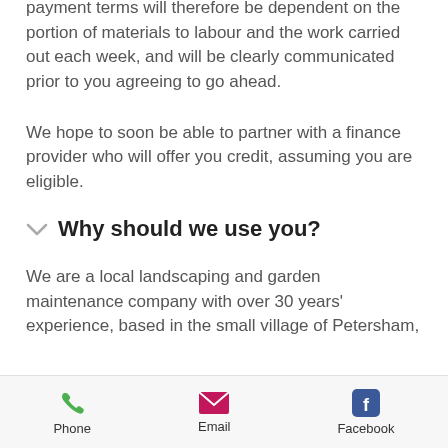payment terms will therefore be dependent on the portion of materials to labour and the work carried out each week, and will be clearly communicated prior to you agreeing to go ahead.
We hope to soon be able to partner with a finance provider who will offer you credit, assuming you are eligible.
Why should we use you?
We are a local landscaping and garden maintenance company with over 30 years' experience, based in the small village of Petersham,
Phone  Email  Facebook